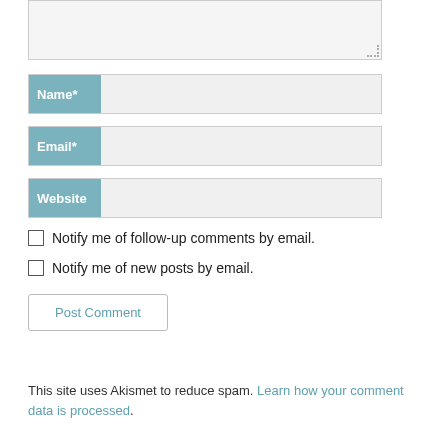[Figure (screenshot): Textarea input field (partially visible at top), followed by Name, Email, and Website form fields with teal labels, then two checkboxes for email notifications, a Post Comment button, and a spam notice with link.]
Notify me of follow-up comments by email.
Notify me of new posts by email.
Post Comment
This site uses Akismet to reduce spam. Learn how your comment data is processed.